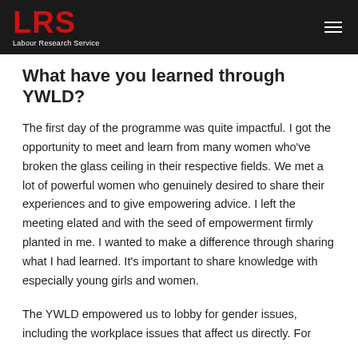LRS Labour Research Service
What have you learned through YWLD?
The first day of the programme was quite impactful. I got the opportunity to meet and learn from many women who've broken the glass ceiling in their respective fields. We met a lot of powerful women who genuinely desired to share their experiences and to give empowering advice. I left the meeting elated and with the seed of empowerment firmly planted in me. I wanted to make a difference through sharing what I had learned. It's important to share knowledge with especially young girls and women.
The YWLD empowered us to lobby for gender issues, including the workplace issues that affect us directly. For